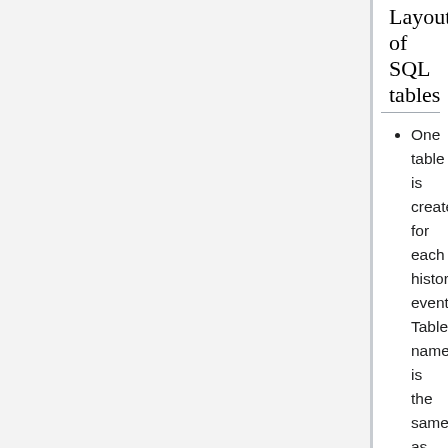Layout of SQL tables
One table is created for each history event. Table name is the same as the history event name (as reported by mhdump).
one column is created for each history tag (history variable). Column name is the same as the tag name (as reported by mhdump). For array tags, one column is created for each array element: array a[3] will produce columns a_0, a_1 and a_2.
two special columns are always created: _i_time and _t_time are the timestamps in the UNIX-time integer format and in the SQL "time" format. (A priori, it is not clear which timestamp format is more useful for end users. mhttpd uses the _i_time integer time format). Note that this